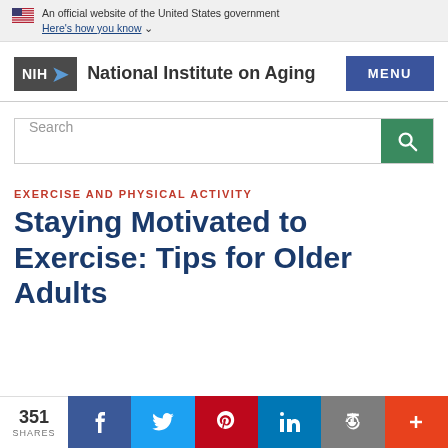An official website of the United States government
Here's how you know
[Figure (logo): NIH National Institute on Aging logo with MENU button]
[Figure (screenshot): Search bar with green search button]
EXERCISE AND PHYSICAL ACTIVITY
Staying Motivated to Exercise: Tips for Older Adults
351 SHARES | Facebook | Twitter | Pinterest | LinkedIn | Print | More